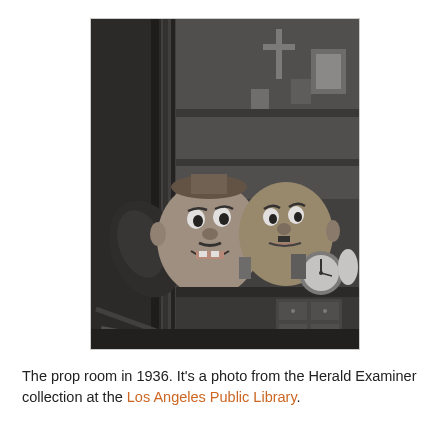[Figure (photo): Black and white photograph from 1936 showing the interior of a prop room. In the foreground are two large papier-mâché or sculpted character heads/masks with exaggerated facial features. Behind them are shelves filled with various props and objects. The setting appears cluttered and cramped.]
The prop room in 1936. It's a photo from the Herald Examiner collection at the Los Angeles Public Library.